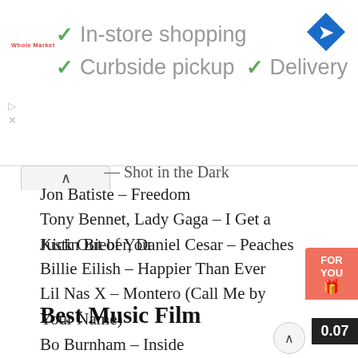[Figure (screenshot): Ad banner for Whole Foods Market showing checkmarks for In-store shopping, Curbside pickup, and Delivery, with a Google Maps navigation icon on the right.]
— Shot in the Dark
Jon Batiste – Freedom
Tony Bennet, Lady Gaga – I Get a Kick Out of You
Justin Bieber, Daniel Cesar – Peaches
Billie Eilish – Happier Than Ever
Lil Nas X – Montero (Call Me by Your Name)
Best Music Film
Bo Burnham – Inside
David Byrne – David Byrne's American Utopia
Billie Eilish – Happier Than Ever (A Love Letter to Los Angeles)
Jimi Hendrix – Music, Money, Madness...Jimi Hendri Maui